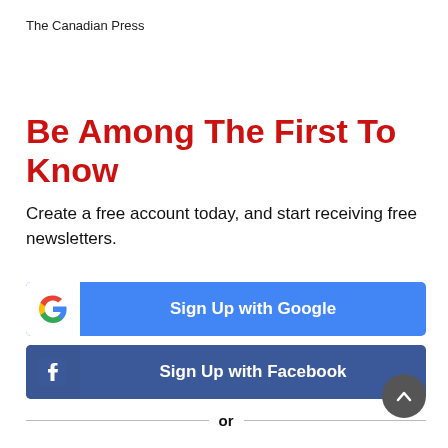The Canadian Press
Be Among The First To Know
Create a free account today, and start receiving free newsletters.
[Figure (other): Sign Up with Google button with Google logo icon on white square and blue background]
[Figure (other): Sign Up with Facebook button with Facebook 'f' icon and blue background]
or
Email Address